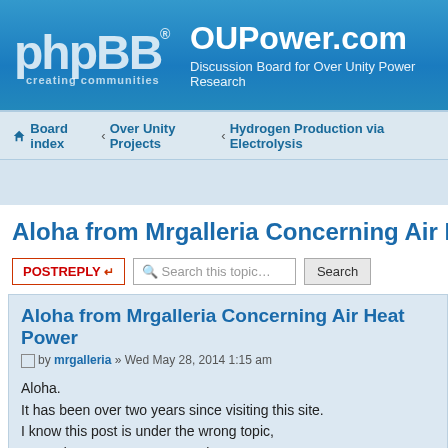phpBB® OUPower.com – Discussion Board for Over Unity Power Research
Board index ‹ Over Unity Projects ‹ Hydrogen Production via Electrolysis
Aloha from Mrgalleria Concerning Air Heat Powe
POSTREPLY  Search this topic…  Search
Aloha from Mrgalleria Concerning Air Heat Power
by mrgalleria » Wed May 28, 2014 1:15 am
Aloha.
It has been over two years since visiting this site.
I know this post is under the wrong topic,
so moderator may move to suit.
Alaskastar has finally replicated the Lee Rogers air car,
but even taken it to the next level.
See the basic build introduction on my you tube channel "mrgalleria".
We are modifying gas engines to run closed loop
with a refrigerant, and using the ac pump to add pressurized refrigerant t